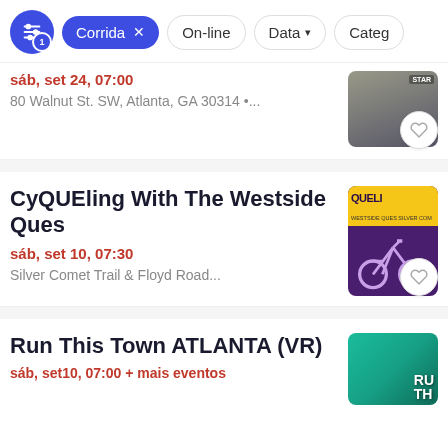Corrida | On-line | Data | Catego...
sáb, set 24, 07:00
80 Walnut St. SW, Atlanta, GA 30314 •...
CyQUEling With The Westside Ques
sáb, set 10, 07:30
Silver Comet Trail & Floyd Road...
Run This Town ATLANTA (VR)
sáb, set10, 07:00 + mais eventos